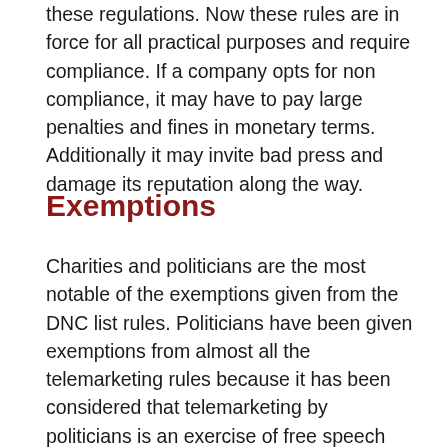these regulations. Now these rules are in force for all practical purposes and require compliance. If a company opts for non compliance, it may have to pay large penalties and fines in monetary terms. Additionally it may invite bad press and damage its reputation along the way.
Exemptions
Charities and politicians are the most notable of the exemptions given from the DNC list rules. Politicians have been given exemptions from almost all the telemarketing rules because it has been considered that telemarketing by politicians is an exercise of free speech right. Many exemptions are also available to charities. Third party commercial companies placing calls on